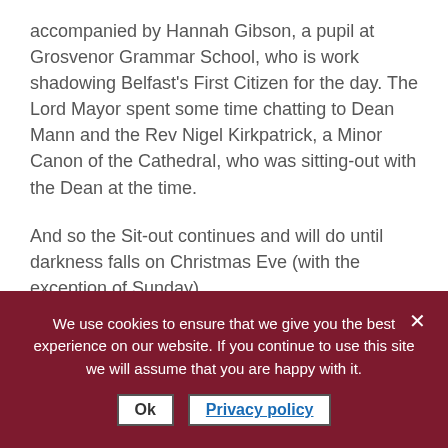accompanied by Hannah Gibson, a pupil at Grosvenor Grammar School, who is work shadowing Belfast's First Citizen for the day. The Lord Mayor spent some time chatting to Dean Mann and the Rev Nigel Kirkpatrick, a Minor Canon of the Cathedral, who was sitting-out with the Dean at the time.
And so the Sit-out continues and will do until darkness falls on Christmas Eve (with the exception of Sunday).
If you have missed the Black Santa Diary in the Belfast Telegraph, entries to date are below. The diaries feature all sort of things, ranging from mega sized anonymous donations to seagulls, and from moisturising cream to
We use cookies to ensure that we give you the best experience on our website. If you continue to use this site we will assume that you are happy with it.